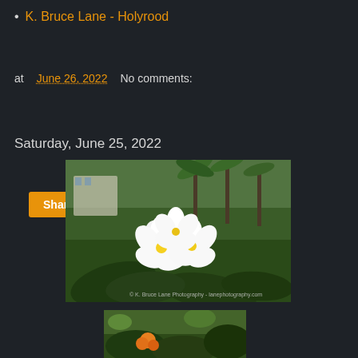K. Bruce Lane - Holyrood
at June 26, 2022   No comments:
Share
Saturday, June 25, 2022
[Figure (photo): White plumeria flowers with yellow centers in focus against a background of green tropical garden with palm trees and a building. Watermark: © K. Bruce Lane Photography - lanephotography.com]
[Figure (photo): Partial view of a tropical garden scene with colorful plants and foliage, partially visible at bottom of page.]